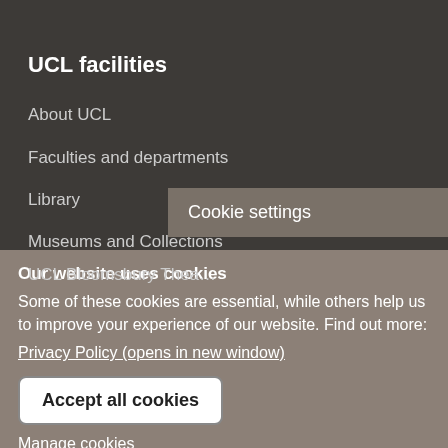UCL facilities
About UCL
Faculties and departments
Library
Museums and Collections
UCL Bloomsbury Thea…
Cookie settings
Our website uses cookies
Some of these cookies are essential, while others help us to improve your experience of our website. Find out more:
Privacy Policy (opens in new window)
Accept all cookies
Manage cookies